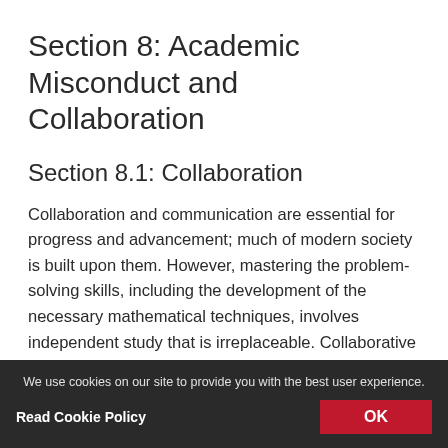Section 8: Academic Misconduct and Collaboration
Section 8.1: Collaboration
Collaboration and communication are essential for progress and advancement; much of modern society is built upon them. However, mastering the problem-solving skills, including the development of the necessary mathematical techniques, involves independent study that is irreplaceable. Collaborative teamwork is useful after you have thoroughly studied the material and attempted the problems on your own. While students are encouraged to share ideas and help each other, all material submitted for grading must be each student's own work. Plagiarism is a form of academic
We use cookies on our site to provide you with the best user experience. Read Cookie Policy  OK